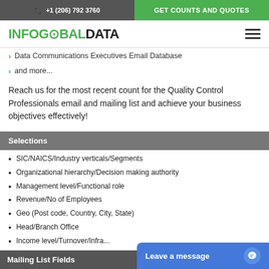+1 (206) 792 3760 | GET COUNTS AND QUOTES
[Figure (logo): InfoGlobalData logo in green and dark text with hamburger menu icon]
Data Communications Executives Email Database
and more...
Reach us for the most recent count for the Quality Control Professionals email and mailing list and achieve your business objectives effectively!
Selections
SIC/NAICS/Industry verticals/Segments
Organizational hierarchy/Decision making authority
Management level/Functional role
Revenue/No of Employees
Geo (Post code, Country, City, State)
Head/Branch Office
Income level/Turnover/Infra...
Mailing List Fields